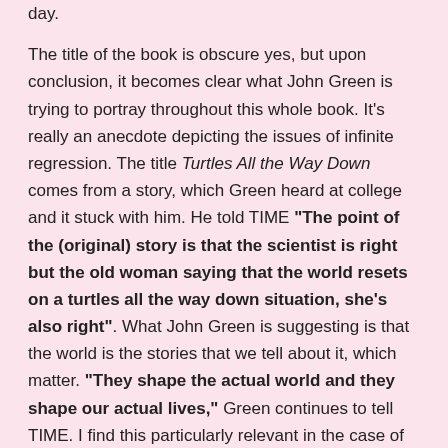day.
The title of the book is obscure yes, but upon conclusion, it becomes clear what John Green is trying to portray throughout this whole book. It's really an anecdote depicting the issues of infinite regression. The title Turtles All the Way Down comes from a story, which Green heard at college and it stuck with him. He told TIME "The point of the (original) story is that the scientist is right but the old woman saying that the world resets on a turtles all the way down situation, she's also right". What John Green is suggesting is that the world is the stories that we tell about it, which matter. "They shape the actual world and they shape our actual lives," Green continues to tell TIME. I find this particularly relevant in the case of Aza because although her illness continues to regress, her life can reset. Her story is important and shapes who she is as a person and also shapes her relationships. I think that is a super powerful message.